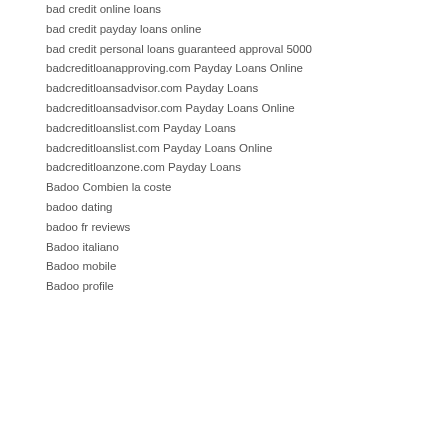bad credit online loans
bad credit payday loans online
bad credit personal loans guaranteed approval 5000
badcreditloanapproving.com Payday Loans Online
badcreditloansadvisor.com Payday Loans
badcreditloansadvisor.com Payday Loans Online
badcreditloanslist.com Payday Loans
badcreditloanslist.com Payday Loans Online
badcreditloanzone.com Payday Loans
Badoo Combien la coste
badoo dating
badoo fr reviews
Badoo italiano
Badoo mobile
Badoo profile